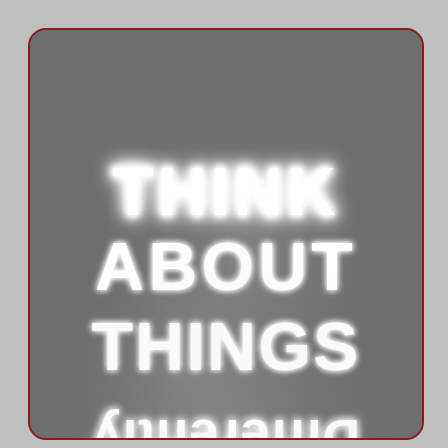[Figure (photo): A neon sign on a grey wall displaying the text 'THINK ABOUT THINGS' in upright white neon letters, and 'Differently' in white neon letters shown upside-down/mirrored at the bottom. The sign glows brightly against a dark grey background. The image is framed with a dark red rounded border.]